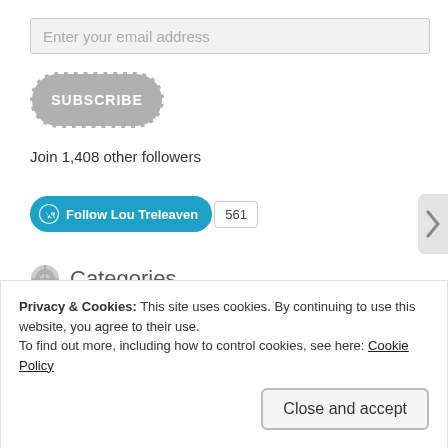Enter your email address
[Figure (other): SUBSCRIBE button with dashed border on grey rounded rectangle]
Join 1,408 other followers
[Figure (other): WordPress Follow Lou Treleaven button (teal) with follower count badge showing 561]
Categories
Privacy & Cookies: This site uses cookies. By continuing to use this website, you agree to their use.
To find out more, including how to control cookies, see here: Cookie Policy
Close and accept